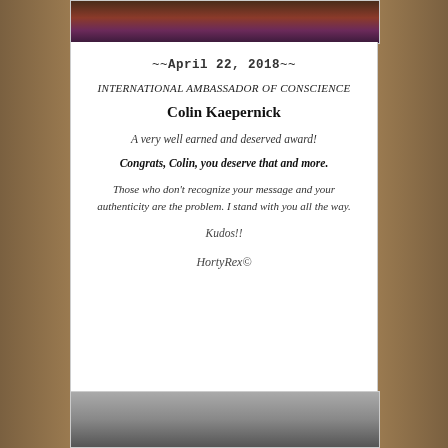[Figure (photo): Top partial photo of a person with colorful background, cropped at top of card]
~~April 22, 2018~~
INTERNATIONAL AMBASSADOR OF CONSCIENCE
Colin Kaepernick
A very well earned and deserved award!
Congrats, Colin, you deserve that and more.
Those who don't recognize your message and your authenticity are the problem. I stand with you all the way.
Kudos!!
HortyRex©
[Figure (photo): Bottom partial photo of a person, cropped at bottom of card]